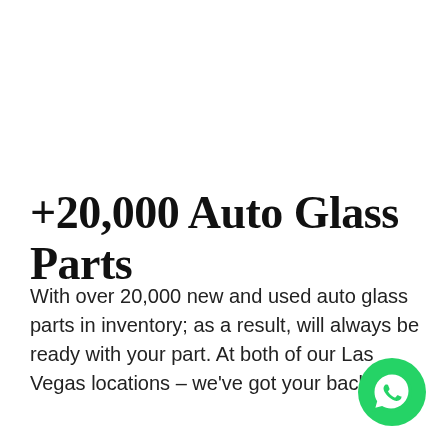+20,000 Auto Glass Parts
With over 20,000 new and used auto glass parts in inventory; as a result, will always be ready with your part. At both of our Las Vegas locations – we've got your back!
[Figure (logo): WhatsApp green circular logo icon in the bottom-right corner]